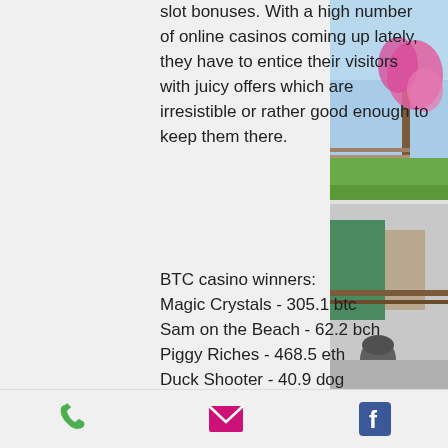slot bonuses. With a high number of online casinos coming up lately, they have to entice their visitors with juicy offers which are irresistible or rather good enough to keep them there.
BTC casino winners:
Magic Crystals - 305.1 btc
Sam on the Beach - 62.2 bch
Piggy Riches - 468.5 eth
Duck Shooter - 40.9 dog
Royal Frog - 190.3 bch
Road Trip - 87.4 usdt
Gold Rush - 88.7 eth
Incinerator - 89.5 usdt
Arcader - 364.1 eth
Red Dragon - 679.3 usdt
Halloween Fortune - 499.5 usdt
Savanna Moon - 222.6 bch
[Figure (photo): Outdoor scene with pink flowering tree on the right, green grass, blue sky, and a wooden fence. Below: a paved area with a large stone/bollard and buildings in background.]
Phone icon | Email icon | Facebook icon